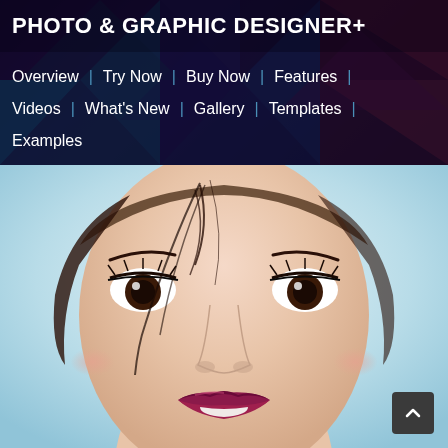PHOTO & GRAPHIC DESIGNER+
Overview | Try Now | Buy Now | Features | Videos | What's New | Gallery | Templates | Examples
[Figure (photo): Close-up portrait photo of a young woman with dark hair, striking eyes with heavy mascara, smooth skin with rosy cheeks, and deep magenta/wine colored lips slightly parted showing teeth. Background is light blue/white.]